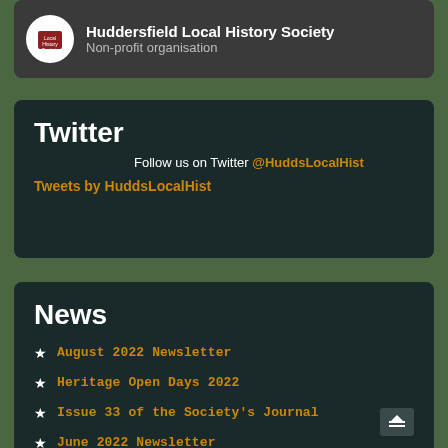[Figure (screenshot): Dark card with circular logo and text 'Huddersfield Local History Society, Non-profit organisation']
Twitter
Follow us on Twitter @HuddsLocalHist
Tweets by HuddsLocalHist
News
August 2022 Newsletter
Heritage Open Days 2022
Issue 33 of the Society's Journal
June 2022 Newsletter
May 2022 Newsletter